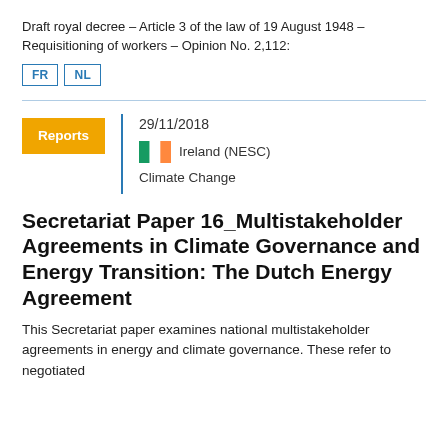Draft royal decree – Article 3 of the law of 19 August 1948 – Requisitioning of workers – Opinion No. 2,112:
FR  NL
Reports
29/11/2018
Ireland (NESC)
Climate Change
Secretariat Paper 16_Multistakeholder Agreements in Climate Governance and Energy Transition: The Dutch Energy Agreement
This Secretariat paper examines national multistakeholder agreements in energy and climate governance. These refer to negotiated